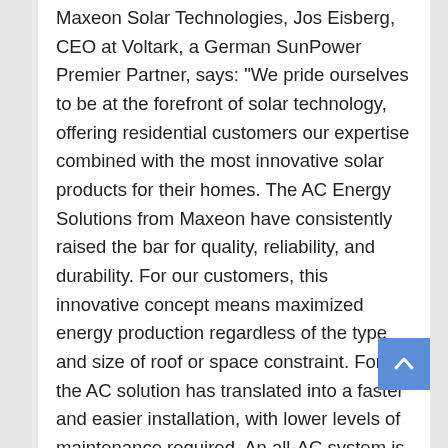Maxeon Solar Technologies, Jos Eisberg, CEO at Voltark, a German SunPower Premier Partner, says: "We pride ourselves to be at the forefront of solar technology, offering residential customers our expertise combined with the most innovative solar products for their homes. The AC Energy Solutions from Maxeon have consistently raised the bar for quality, reliability, and durability. For our customers, this innovative concept means maximized energy production regardless of the type and size of roof or space constraint. For us, the AC solution has translated into a faster and easier installation, with lower levels of maintenance required. An all-AC system is peace of mind for us and our valued customers, who can also benefit from 25 years of category-leading warranty protection."
Assessing their experience with the AC solutions from Maxeon Solar Technologies, Jos Eisberg, CEO at Voltark, a German SunPower Premier Partner, says: "We pride